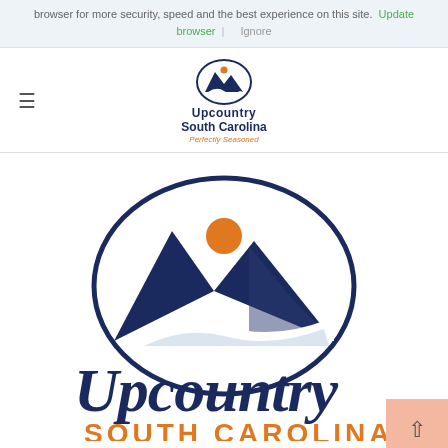browser for more security, speed and the best experience on this site. Update browser | Ignore
[Figure (logo): Upcountry South Carolina 'Perfectly Seasoned' navigation logo — small oval emblem with mountains and orange sun, dark navy text]
[Figure (logo): Large Upcountry South Carolina logo — oval with dark navy mountains and orange sun inside, with large script 'Upcountry' text and 'SOUTH CAROLINA' below in orange, partially cropped at bottom]